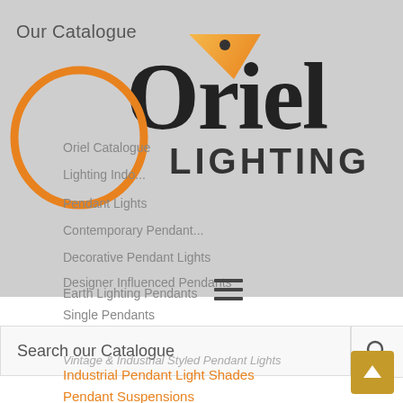Our Catalogue
[Figure (logo): Oriel Lighting logo with orange pendant light icon and serif/sans-serif wordmark]
Oriel Catalogue
Lighting Indo...
Pendant Lights
Contemporary Pendant...
Decorative Pendant Lights
Designer Influenced Pendants
Earth Lighting Pendants
Single Pendants
Search our Catalogue
Vintage & Industrial Styled Pendant Lights
Industrial Pendant Light Shades
Pendant Suspensions
Mix and Match Suspensions and Shades...